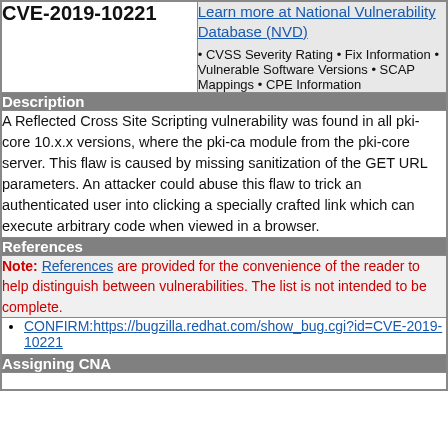| CVE-2019-10221 | Learn more at National Vulnerability Database (NVD) |
| --- | --- |
|  | • CVSS Severity Rating • Fix Information • Vulnerable Software Versions • SCAP Mappings • CPE Information |
Description
A Reflected Cross Site Scripting vulnerability was found in all pki-core 10.x.x versions, where the pki-ca module from the pki-core server. This flaw is caused by missing sanitization of the GET URL parameters. An attacker could abuse this flaw to trick an authenticated user into clicking a specially crafted link which can execute arbitrary code when viewed in a browser.
References
Note: References are provided for the convenience of the reader to help distinguish between vulnerabilities. The list is not intended to be complete.
CONFIRM:https://bugzilla.redhat.com/show_bug.cgi?id=CVE-2019-10221
Assigning CNA